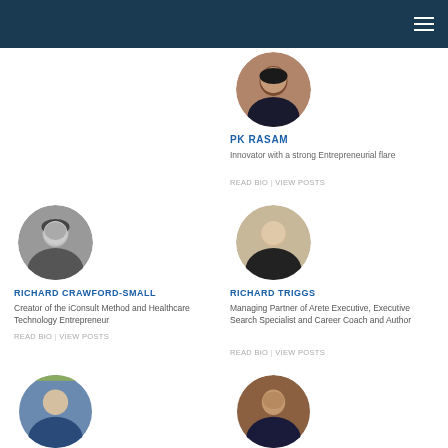[Figure (other): Dark blue navigation header bar with hamburger menu icon (three horizontal lines) on the right]
[Figure (photo): Circular portrait photo of PK Rasam, a man in a suit]
PK RASAM
Innovator with a strong Entrepreneurial flare
READ BIO | VIEW POSTS
[Figure (photo): Circular black and white portrait photo of Richard Crawford-Small]
RICHARD CRAWFORD-SMALL
Creator of the iConsult Method and Healthcare Technology Entrepreneur
READ BIO | VIEW POSTS
[Figure (photo): Circular portrait photo of Richard Triggs, a man in a suit]
RICHARD TRIGGS
Managing Partner of Arete Executive, Executive Search Specialist and Career Coach and Author
READ BIO | VIEW POSTS
[Figure (photo): Circular portrait photo of a man in a suit, partially visible at bottom left]
[Figure (photo): Circular portrait photo of a young man, partially visible at bottom right]